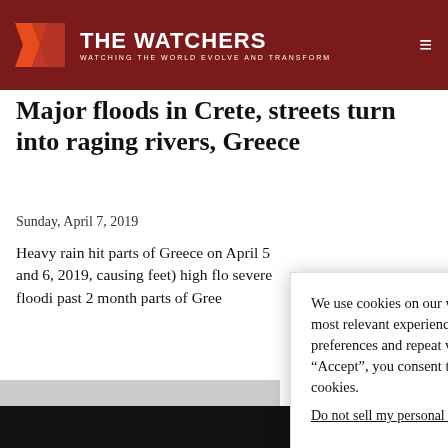THE WATCHERS — WATCHING THE WORLD EVOLVE AND TRANSFORM
Major floods in Crete, streets turn into raging rivers, Greece
Sunday, April 7, 2019
Heavy rain hit parts of Greece on April 5 and 6, 2019, causing feet) high flo severe floodi past 2 month parts of Gree
We use cookies on our website to give you the most relevant experience by remembering your preferences and repeat visits. By clicking “Accept”, you consent to the use of ALL the cookies.
Do not sell my personal information.
Cookie settings | Accept
AVO